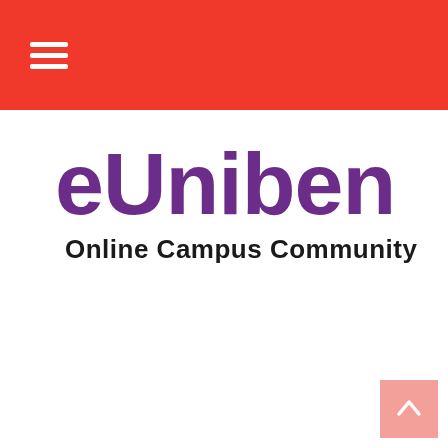≡
eUniben
Online Campus Community